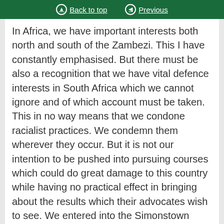Back to top | Previous
In Africa, we have important interests both north and south of the Zambezi. This I have constantly emphasised. But there must be also a recognition that we have vital defence interests in South Africa which we cannot ignore and of which account must be taken. This in no way means that we condone racialist practices. We condemn them wherever they occur. But it is not our intention to be pushed into pursuing courses which could do great damage to this country while having no practical effect in bringing about the results which their advocates wish to see. We entered into the Simonstown Agreement, and the Government intend to give effect to its purposes. What is involved is a matter for careful consideration, and when our examination is complete we shall make an announcement to the